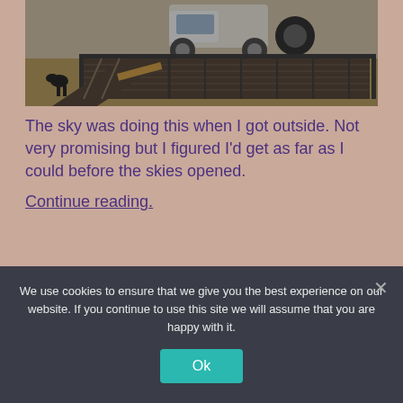[Figure (photo): A truck with a car trailer/ramp attached, parked outdoors on dry grass. The trailer ramp is lowered. A dog is visible on the left side of the image.]
The sky was doing this when I got outside. Not very promising but I figured I'd get as far as I could before the skies opened. Continue reading.
We use cookies to ensure that we give you the best experience on our website. If you continue to use this site we will assume that you are happy with it.